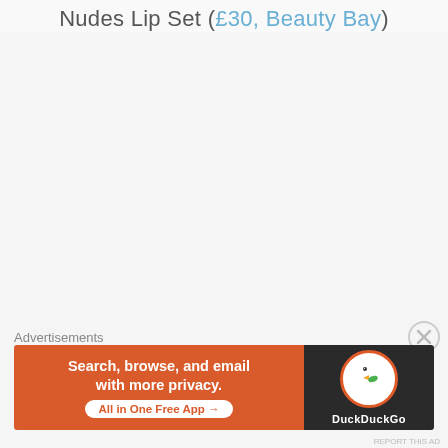Nudes Lip Set (£30, Beauty Bay)
[Figure (screenshot): DuckDuckGo advertisement banner: orange left panel with text 'Search, browse, and email with more privacy. All in One Free App', dark right panel with DuckDuckGo duck logo and brand name]
Advertisements
REPORT THIS AD